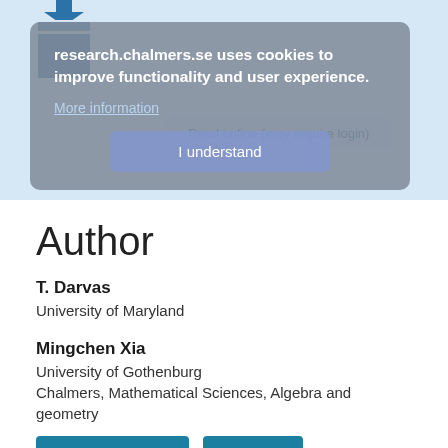[Figure (screenshot): Cookie consent overlay on research.chalmers.se website showing cookie notice and 'I understand' button, overlapping a light blue page background with a download icon]
Author
T. Darvas
University of Maryland
Mingchen Xia
University of Gothenburg
Chalmers, Mathematical Sciences, Algebra and geometry